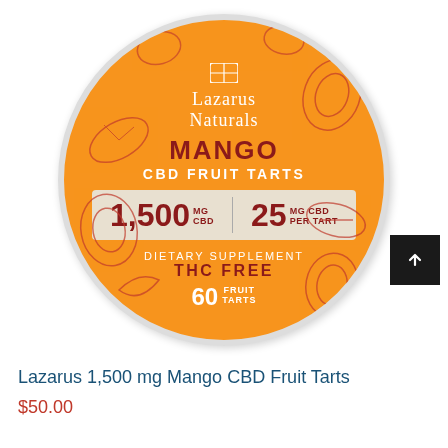[Figure (photo): Lazarus Naturals Mango CBD Fruit Tarts tin, circular orange container with red and white text. Shows 1,500 MG CBD, 25 MG CBD Per Tart, Dietary Supplement, THC Free, 60 Fruit Tarts. Brand name Lazarus Naturals at top. Decorative mango and leaf illustrations on orange background.]
Lazarus 1,500 mg Mango CBD Fruit Tarts
$50.00